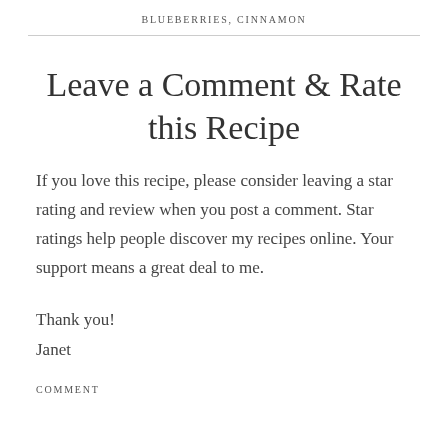BLUEBERRIES, CINNAMON
Leave a Comment & Rate this Recipe
If you love this recipe, please consider leaving a star rating and review when you post a comment. Star ratings help people discover my recipes online. Your support means a great deal to me.
Thank you!
Janet
COMMENT